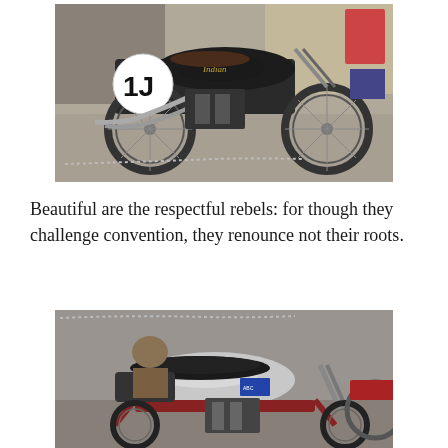[Figure (photo): A vintage black Indian motorcycle with race number 1J displayed on a circular plate, parked on a concrete surface near a brick wall. The motorcycle has exposed engine, chrome exhaust pipes, and spoked wheels.]
Beautiful are the respectful rebels: for though they challenge convention, they renounce not their roots.
[Figure (photo): A classic motorcycle with a silver/chrome fuel tank, red frame, and black seat, parked in an outdoor setting with other motorcycles visible in the background. A person is partially visible near the bike.]